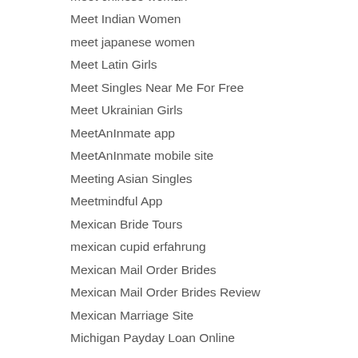meet chinese woman
Meet Indian Women
meet japanese women
Meet Latin Girls
Meet Singles Near Me For Free
Meet Ukrainian Girls
MeetAnInmate app
MeetAnInmate mobile site
Meeting Asian Singles
Meetmindful App
Mexican Bride Tours
mexican cupid erfahrung
Mexican Mail Order Brides
Mexican Mail Order Brides Review
Mexican Marriage Site
Michigan Payday Loan Online